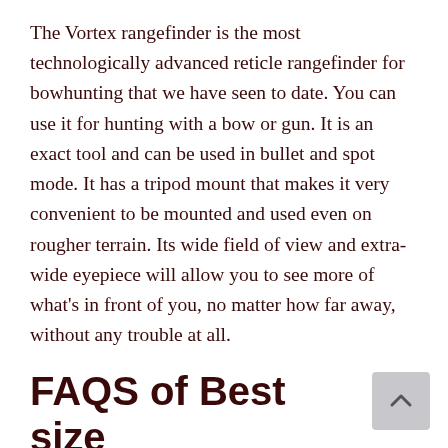The Vortex rangefinder is the most technologically advanced reticle rangefinder for bowhunting that we have seen to date. You can use it for hunting with a bow or gun. It is an exact tool and can be used in bullet and spot mode. It has a tripod mount that makes it very convenient to be mounted and used even on rougher terrain. Its wide field of view and extra-wide eyepiece will allow you to see more of what's in front of you, no matter how far away, without any trouble at all.
FAQS of Best size binoculars for